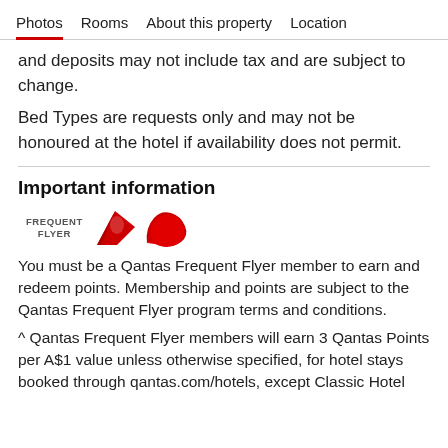Photos  Rooms  About this property  Location
and deposits may not include tax and are subject to change.
Bed Types are requests only and may not be honoured at the hotel if availability does not permit.
Important information
[Figure (logo): Qantas Frequent Flyer logo with red kangaroo emblem]
You must be a Qantas Frequent Flyer member to earn and redeem points. Membership and points are subject to the Qantas Frequent Flyer program terms and conditions.
^ Qantas Frequent Flyer members will earn 3 Qantas Points per A$1 value unless otherwise specified, for hotel stays booked through qantas.com/hotels, except Classic Hotel